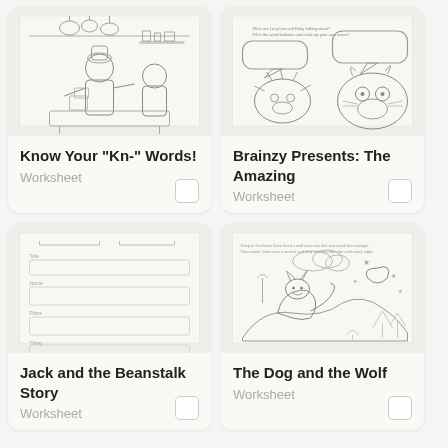[Figure (illustration): Black and white line drawing of figures in a kitchen with pots, pans, and cooking equipment]
Know Your "Kn-" Words!
Worksheet
[Figure (illustration): Black and white line drawing of cartoon animal characters with speech/word balloons]
Brainzy Presents: The Amazing
Worksheet
[Figure (illustration): Black and white worksheet with lines and blank boxes for writing]
Jack and the Beanstalk Story
Worksheet
[Figure (illustration): Black and white line drawing of a wolf and dog scene outdoors at night with stars and moon]
The Dog and the Wolf
Worksheet